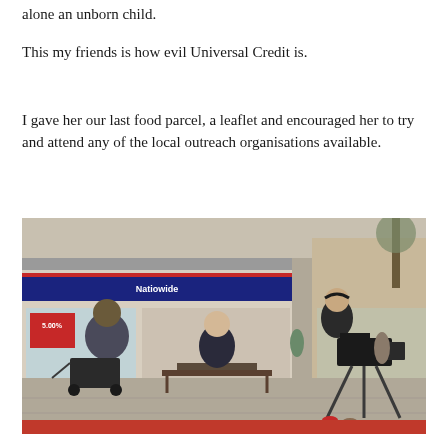alone an unborn child.
This my friends is how evil Universal Credit is.
I gave her our last food parcel, a leaflet and encouraged her to try and attend any of the local outreach organisations available.
[Figure (photo): Outdoor street scene showing a film crew interviewing people on a bench outside a Natiowide building society branch. A person with a pushchair sits on the left, an older man sits on the bench in the centre, and a camera operator stands on the right with a professional camera on a tripod.]